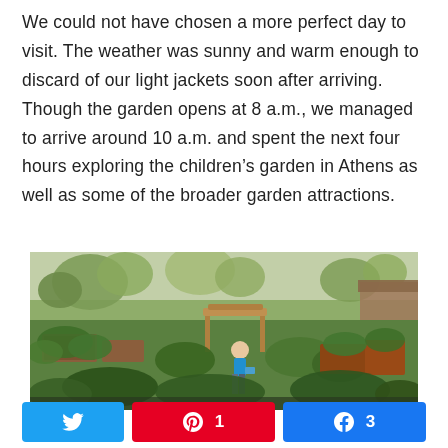We could not have chosen a more perfect day to visit. The weather was sunny and warm enough to discard of our light jackets soon after arriving. Though the garden opens at 8 a.m., we managed to arrive around 10 a.m. and spent the next four hours exploring the children’s garden in Athens as well as some of the broader garden attractions.
[Figure (photo): A child in a blue shirt stands among raised garden beds with wooden structures, lush green plants and shrubs, and trees in the background at a children's garden.]